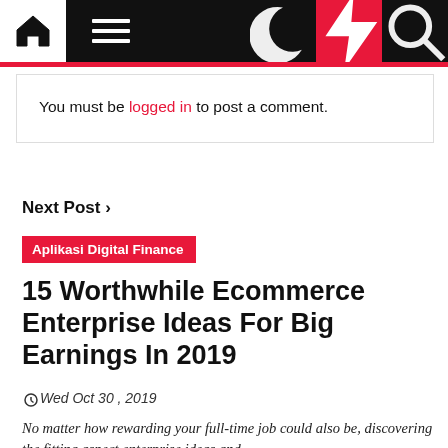Navigation bar with home, menu, moon, lightning, and search icons
You must be logged in to post a comment.
Next Post >
Aplikasi Digital Finance
15 Worthwhile Ecommerce Enterprise Ideas For Big Earnings In 2019
Wed Oct 30, 2019
No matter how rewarding your full-time job could also be, discovering the fitting aspect enterprise ideas and